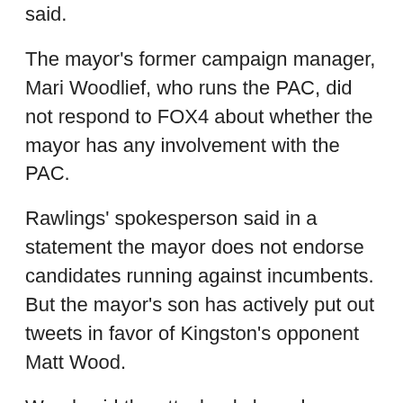said.
The mayor's former campaign manager, Mari Woodlief, who runs the PAC, did not respond to FOX4 about whether the mayor has any involvement with the PAC.
Rawlings' spokesperson said in a statement the mayor does not endorse candidates running against incumbents. But the mayor's son has actively put out tweets in favor of Kingston's opponent Matt Wood.
Wood said the attack ads have been both good and bad for him.
“So that’s been a mixed blessing. I’ve spent a lot of time having to make people aware we have nothing to do with that,” Wood said. “Some of what has been said is